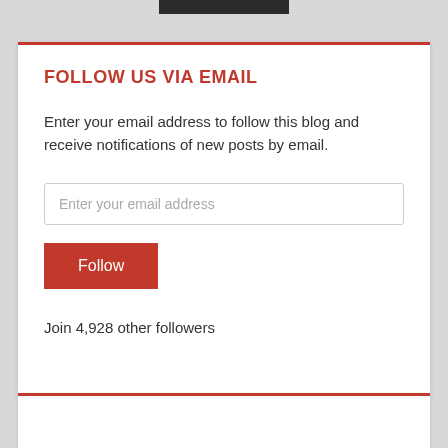[Figure (screenshot): Partial dark navigation bar at top of page, cropped]
FOLLOW US VIA EMAIL
Enter your email address to follow this blog and receive notifications of new posts by email.
[Figure (screenshot): Email input field with placeholder text 'Enter your email address']
[Figure (screenshot): Red 'Follow' button]
Join 4,928 other followers